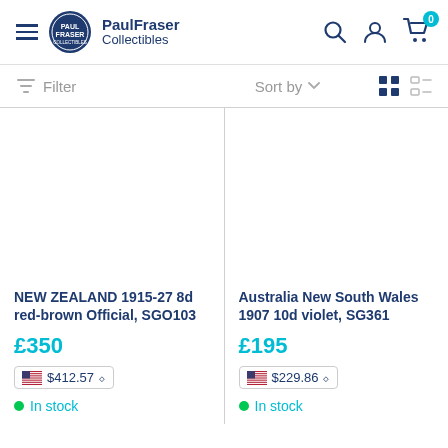PaulFraser Collectibles
Filter  Sort by
NEW ZEALAND 1915-27 8d red-brown Official, SGO103
£350
$412.57
In stock
Australia New South Wales 1907 10d violet, SG361
£195
$229.86
In stock